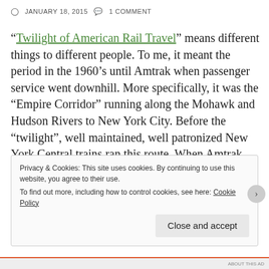JANUARY 18, 2015  1 COMMENT
“Twilight of American Rail Travel” means different things to different people. To me, it meant the period in the 1960’s until Amtrak when passenger service went downhill. More specifically, it was the “Empire Corridor” running along the Mohawk and Hudson Rivers to New York City. Before the “twilight”, well maintained, well patronized New York Central trains ran this route. When Amtrak began in 1971, service was sloppy, not as well patronized, and equipment was very “worn”.
Privacy & Cookies: This site uses cookies. By continuing to use this website, you agree to their use. To find out more, including how to control cookies, see here: Cookie Policy
Close and accept